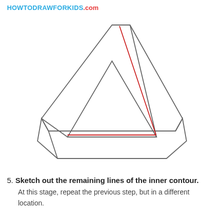HOWTODRAWFORKIDS.com
[Figure (illustration): A Penrose triangle (impossible triangle) drawn in gray outline with an inner triangle shown in red lines, illustrating step 5 of a drawing tutorial.]
5. Sketch out the remaining lines of the inner contour. At this stage, repeat the previous step, but in a different location.